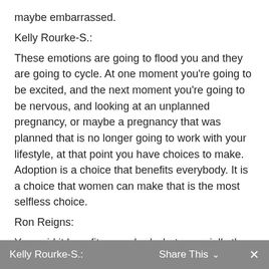maybe embarrassed.
Kelly Rourke-S.:
These emotions are going to flood you and they are going to cycle. At one moment you're going to be excited, and the next moment you're going to be nervous, and looking at an unplanned pregnancy, or maybe a pregnancy that was planned that is no longer going to work with your lifestyle, at that point you have choices to make. Adoption is a choice that benefits everybody. It is a choice that women can make that is the most selfless choice.
Ron Reigns:
You said it benefits everybody, but especially the child.
Kelly Rourke-S.:   Share This   ✕